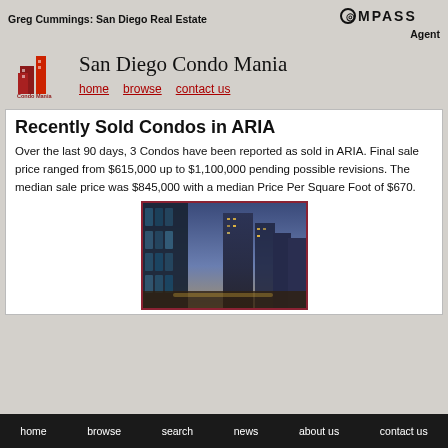Greg Cummings: San Diego Real Estate | COMPASS Agent
San Diego Condo Mania
Recently Sold Condos in ARIA
Over the last 90 days, 3 Condos have been reported as sold in ARIA. Final sale price ranged from $615,000 up to $1,100,000 pending possible revisions. The median sale price was $845,000 with a median Price Per Square Foot of $670.
[Figure (photo): Aerial/street-level photo of urban condominium high-rise buildings in San Diego at dusk/night]
home  browse  search  news  about us  contact us